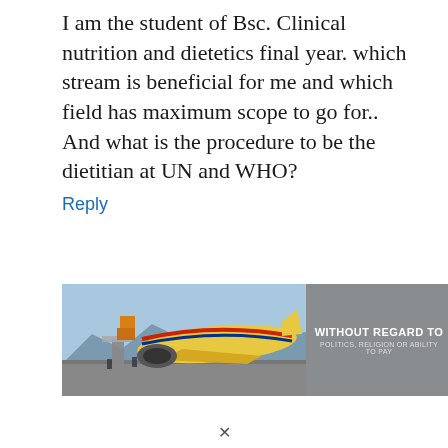I am the student of Bsc. Clinical nutrition and dietetics final year. which stream is beneficial for me and which field has maximum scope to go for.. And what is the procedure to be the dietitian at UN and WHO?
Reply
[Figure (photo): Advertisement banner showing an airplane being loaded with cargo on tarmac, with a dark gray panel on the right displaying the text 'WITHOUT REGARD TO POLITICS, RELIGION OR ABILITY TO PAY']